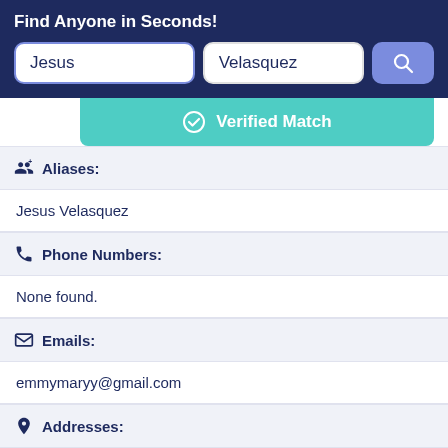Find Anyone in Seconds!
[Figure (screenshot): Search form with first name field 'Jesus', last name field 'Velasquez', and a blue search button with magnifying glass icon]
Verified Match
Aliases:
Jesus Velasquez
Phone Numbers:
None found.
Emails:
emmymaryy@gmail.com
Addresses:
Forest Park, Georgia, United States 30050
Record Overview: